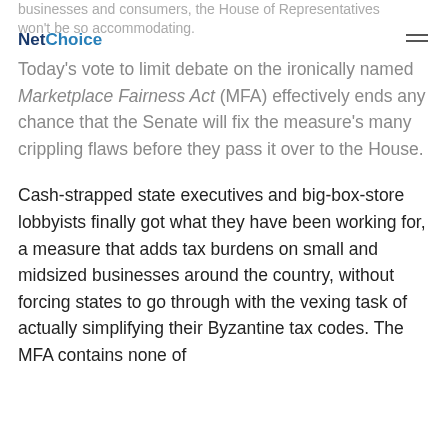businesses and consumers, the House of Representatives won't be so accommodating. NetChoice
Today's vote to limit debate on the ironically named Marketplace Fairness Act (MFA) effectively ends any chance that the Senate will fix the measure's many crippling flaws before they pass it over to the House.
Cash-strapped state executives and big-box-store lobbyists finally got what they have been working for, a measure that adds tax burdens on small and midsized businesses around the country, without forcing states to go through with the vexing task of actually simplifying their Byzantine tax codes. The MFA contains none of the qualifications identified in the Tax...